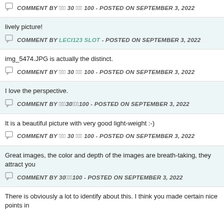Some remarkable photos. Fantastic colors.
COMMENT BY ꀀꀀꀀ 30 ꀀꀀꀀ 100 - POSTED ON SEPTEMBER 3, 2022
lively picture!
COMMENT BY LECI123 SLOT - POSTED ON SEPTEMBER 3, 2022
img_5474.JPG is actually the distinct.
COMMENT BY ꀀꀀꀀ 30 ꀀꀀꀀ 100 - POSTED ON SEPTEMBER 3, 2022
I love the perspective.
COMMENT BY ꀀꀀꀀ30ꀀꀀꀀ100 - POSTED ON SEPTEMBER 3, 2022
It is a beautiful picture with very good light-weight :-)
COMMENT BY ꀀꀀꀀ 30 ꀀꀀꀀ 100 - POSTED ON SEPTEMBER 3, 2022
Great images, the color and depth of the images are breath-taking, they attract you
COMMENT BY 30ꀀꀀꀀ100 - POSTED ON SEPTEMBER 3, 2022
There is obviously a lot to identify about this. I think you made certain nice points in